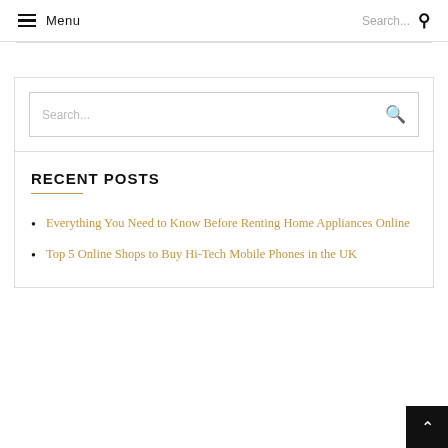Menu | Search...
[Figure (screenshot): Search widget box with a search input field and a golden magnifying glass icon]
RECENT POSTS
Everything You Need to Know Before Renting Home Appliances Online
Top 5 Online Shops to Buy Hi-Tech Mobile Phones in the UK